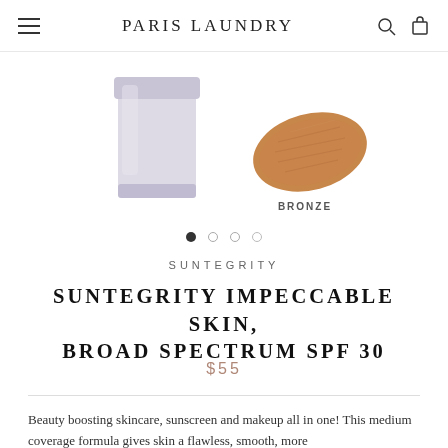PARIS LAUNDRY
[Figure (photo): Product image showing a white/grey cylindrical container on the left and a bronze-colored makeup swatch on the right labeled BRONZE]
• • • •  (pagination dots, first filled)
SUNTEGRITY
SUNTEGRITY IMPECCABLE SKIN, BROAD SPECTRUM SPF 30
$55
Beauty boosting skincare, sunscreen and makeup all in one! This medium coverage formula gives skin a flawless, smooth, more